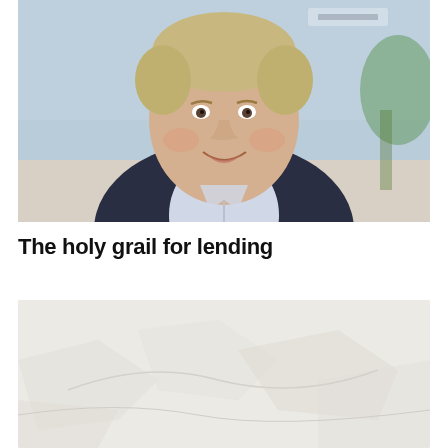[Figure (photo): Headshot of a smiling middle-aged man with light hair, wearing a dark navy blazer over a light blue open-collar shirt, photographed in a modern office environment with glass walls and greenery in the background.]
The holy grail for lending
[Figure (photo): A light gray/beige textured image, possibly a background or secondary illustrative image, partially visible at the bottom of the page.]